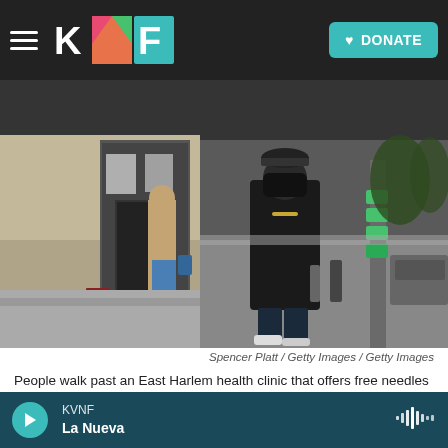KVNF header with logo and DONATE button
[Figure (photo): Street scene in East Harlem showing people walking past a health clinic. A person in a black mask and dark jacket walks on the sidewalk, another person in a tan jacket stands near the clinic entrance. Buildings, a sidewalk, and green stickers on a street pole are visible.]
Spencer Platt / Getty Images / Getty Images
People walk past an East Harlem health clinic that offers free needles and other services to drug users on in New York.
One troubling question is whether this pattern — multiple relapses leading to eventual recovery —
KVNF La Nueva